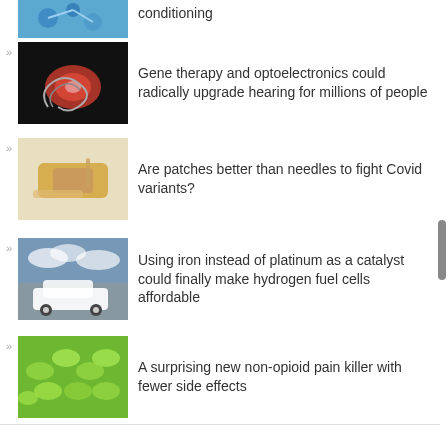conditioning
Gene therapy and optoelectronics could radically upgrade hearing for millions of people
Are patches better than needles to fight Covid variants?
Using iron instead of platinum as a catalyst could finally make hydrogen fuel cells affordable
A surprising new non-opioid pain killer with fewer side effects
The promise of vertical PV power plants